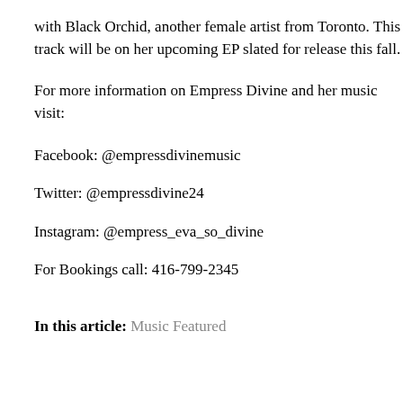with Black Orchid, another female artist from Toronto. This track will be on her upcoming EP slated for release this fall.
For more information on Empress Divine and her music visit:
Facebook: @empressdivinemusic
Twitter: @empressdivine24
Instagram: @empress_eva_so_divine
For Bookings call: 416-799-2345
In this article: Music Featured